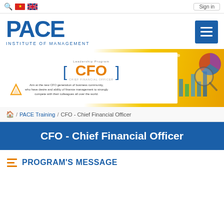Sign in
[Figure (logo): PACE Institute of Management logo with large blue PACE text and subtitle]
[Figure (infographic): CFO Leadership Program banner with CFO in brackets, charts and magnifying glass imagery, tagline about new CFO generation]
/ PACE Training / CFO - Chief Financial Officer
CFO - Chief Financial Officer
PROGRAM'S MESSAGE